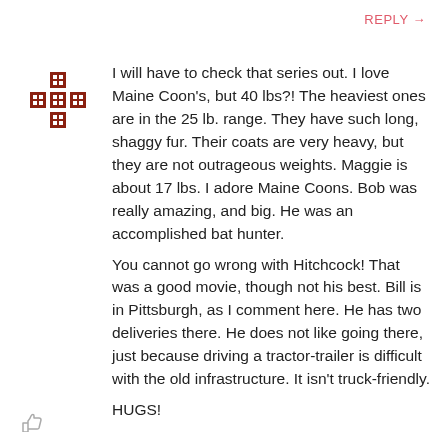REPLY →
[Figure (logo): Decorative cross/quilt pattern avatar icon in dark red/brown color]
I will have to check that series out. I love Maine Coon's, but 40 lbs?! The heaviest ones are in the 25 lb. range. They have such long, shaggy fur. Their coats are very heavy, but they are not outrageous weights. Maggie is about 17 lbs. I adore Maine Coons. Bob was really amazing, and big. He was an accomplished bat hunter.
You cannot go wrong with Hitchcock! That was a good movie, though not his best. Bill is in Pittsburgh, as I comment here. He has two deliveries there. He does not like going there, just because driving a tractor-trailer is difficult with the old infrastructure. It isn't truck-friendly.
HUGS!